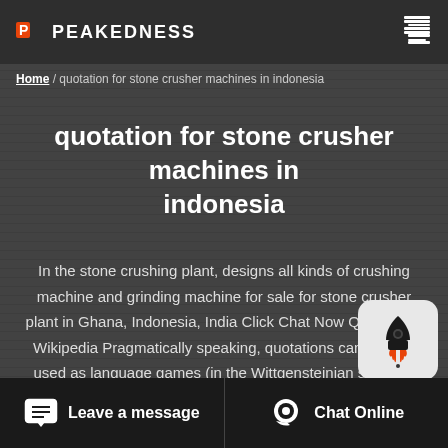PEAKEDNESS
Home / quotation for stone crusher machines in indonesia
quotation for stone crusher machines in indonesia
In the stone crushing plant, designs all kinds of crushing machine and grinding machine for sale for stone crusher plant in Ghana, Indonesia, India Click Chat Now Quotation - Wikipedia Pragmatically speaking, quotations can also be used as language games (in the Wittgensteinian sense of the term) to manipulate social order and the structure of
Leave a message  Chat Online